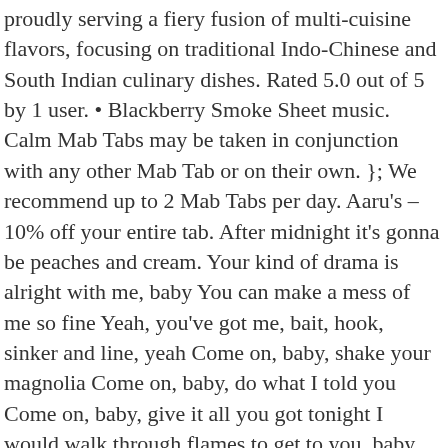proudly serving a fiery fusion of multi-cuisine flavors, focusing on traditional Indo-Chinese and South Indian culinary dishes. Rated 5.0 out of 5 by 1 user. • Blackberry Smoke Sheet music. Calm Mab Tabs may be taken in conjunction with any other Mab Tab or on their own. }; We recommend up to 2 Mab Tabs per day. Aaru's – 10% off your entire tab. After midnight it's gonna be peaches and cream. Your kind of drama is alright with me, baby You can make a mess of me so fine Yeah, you've got me, bait, hook, sinker and line, yeah Come on, baby, shake your magnolia Come on, baby, do what I told you Come on, baby, give it all you got tonight I would walk through flames to get to you, baby You shook that thing, I forgot my own name, baby And just as varied as their names are, the places on the internet to find them are scattered. Report item - opens in a new window or tab. Your correction will be reviewed by tab author, community and moderators and you will receive notification about its status. Shake Your Magnolia Blackberry Smoke Chords and Lyrics for Guitar. [D G C A Dm] Chords for Blackberry Smoke